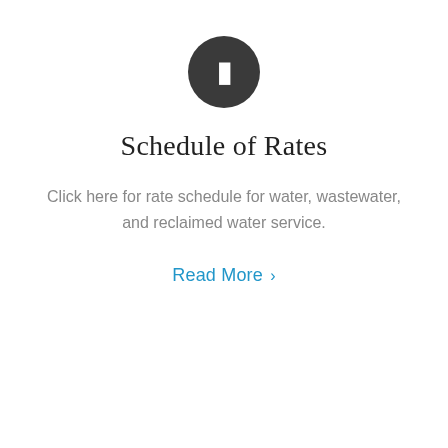[Figure (illustration): Dark circular icon with a white document/page symbol in the center]
Schedule of Rates
Click here for rate schedule for water, wastewater, and reclaimed water service.
Read More >